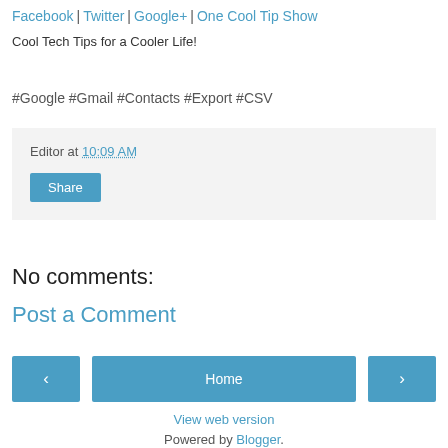Facebook | Twitter | Google+ | One Cool Tip Show
Cool Tech Tips for a Cooler Life!
#Google #Gmail #Contacts #Export #CSV
Editor at 10:09 AM
Share
No comments:
Post a Comment
‹  Home  ›
View web version
Powered by Blogger.